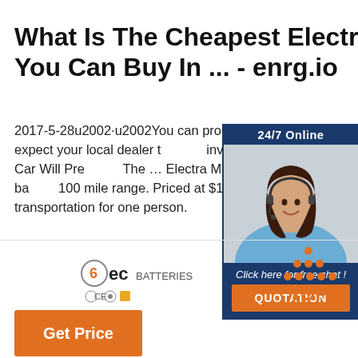What Is The Cheapest Electric Car You Can Buy In ... - enrg.io
2017-5-28u2002·u2002You can probably buy Oshkosh, but don't expect your local dealer to have inventory. The Cheapest Electric Car Will Pre... The … Electra Meccanica Solo 16.1 kWh battery 100 mile range. Priced at $15,500, the Electra Solo is basic transportation for one person.
[Figure (other): Online chat advertisement panel with a woman wearing a headset, '24/7 Online' banner, 'Click here for free chat!' text, and orange QUOTATION button]
[Figure (logo): BEC battery brand logo with CE certification marks]
[Figure (other): TOP scroll-to-top button with orange dots arranged in triangle shape above the word TOP]